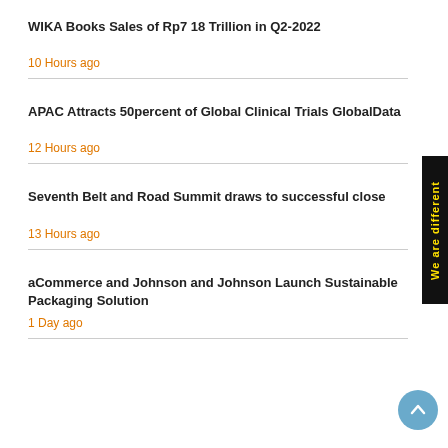WIKA Books Sales of Rp7 18 Trillion in Q2-2022
10 Hours ago
APAC Attracts 50percent of Global Clinical Trials GlobalData
12 Hours ago
Seventh Belt and Road Summit draws to successful close
13 Hours ago
aCommerce and Johnson and Johnson Launch Sustainable Packaging Solution
1 Day ago